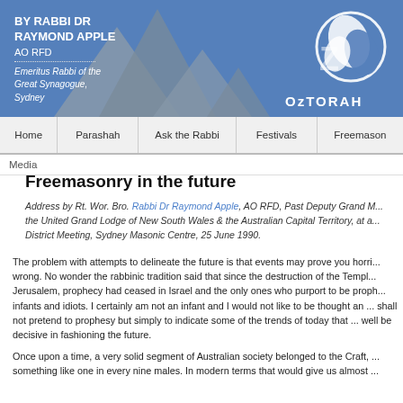BY RABBI DR RAYMOND APPLE AO RFD Emeritus Rabbi of the Great Synagogue, Sydney — OzTORAH
[Figure (logo): OzTorah website header with grey Sydney Opera House silhouette shapes on blue background and OzTorah logo with white leaf/dove graphic and OzTORAH text]
Home | Parashah | Ask the Rabbi | Festivals | Freemason
Media
Freemasonry in the future
Address by Rt. Wor. Bro. Rabbi Dr Raymond Apple, AO RFD, Past Deputy Grand M... the United Grand Lodge of New South Wales & the Australian Capital Territory, at a... District Meeting, Sydney Masonic Centre, 25 June 1990.
The problem with attempts to delineate the future is that events may prove you horri... wrong. No wonder the rabbinic tradition said that since the destruction of the Templ... Jerusalem, prophecy had ceased in Israel and the only ones who purport to be proph... infants and idiots. I certainly am not an infant and I would not like to be thought an ... shall not pretend to prophesy but simply to indicate some of the trends of today that ... well be decisive in fashioning the future.
Once upon a time, a very solid segment of Australian society belonged to the Craft, ... something like one in every nine males. In modern terms that would give us almost ...